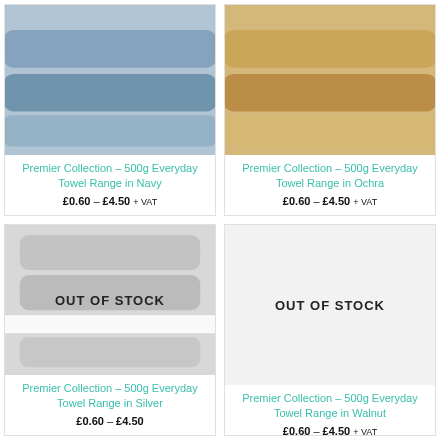[Figure (photo): Folded navy towels product photo]
Premier Collection – 500g Everyday Towel Range in Navy
£0.60 – £4.50 + VAT
[Figure (photo): Folded ochra towels product photo]
Premier Collection – 500g Everyday Towel Range in Ochra
£0.60 – £4.50 + VAT
[Figure (photo): Folded silver towels product photo with OUT OF STOCK overlay]
Premier Collection – 500g Everyday Towel Range in Silver
£0.60 – £4.50 + VAT
[Figure (photo): Walnut towel product image with OUT OF STOCK overlay]
Premier Collection – 500g Everyday Towel Range in Walnut
£0.60 – £4.50 + VAT